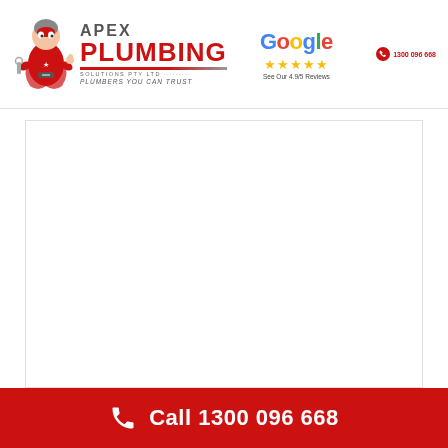[Figure (logo): Apex Plumbing Solutions mascot logo with superhero plumber character, company name 'APEX PLUMBING SOLUTIONS PTY LTD' and tagline 'PLUMBERS YOU CAN TRUST']
[Figure (logo): Google logo with 5 gold stars and text 'See Our 4.9/5 Reviews']
1300 096 668
[Figure (illustration): Large white content area with light border]
Call 1300 096 668